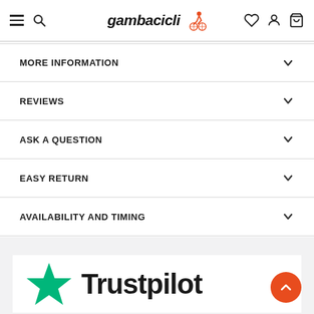gambacicli — navigation header with hamburger menu, search, logo, wishlist, account, cart icons
MORE INFORMATION
REVIEWS
ASK A QUESTION
EASY RETURN
AVAILABILITY AND TIMING
[Figure (logo): Trustpilot logo with green star and bold black 'Trustpilot' text]